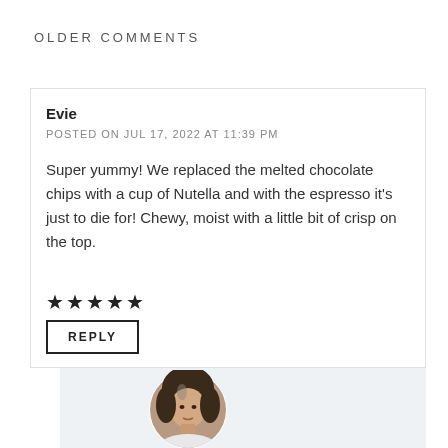OLDER COMMENTS
Evie
POSTED ON JUL 17, 2022 AT 11:39 PM
Super yummy! We replaced the melted chocolate chips with a cup of Nutella and with the espresso it’s just to die for! Chewy, moist with a little bit of crisp on the top.
★★★★★
REPLY
[Figure (photo): Circular avatar photo of a woman with dark hair, partially visible at bottom of page]